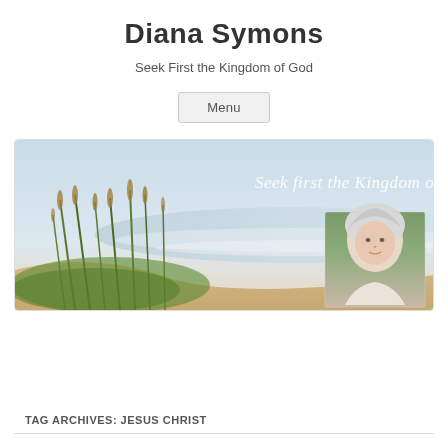Diana Symons
Seek First the Kingdom of God
Menu
[Figure (photo): Banner image showing beach grass dunes with ocean in background, with text 'Seek first the Kingdom of God' overlaid in white italic script. A portrait photo of a white-haired woman is inset in the lower right corner.]
TAG ARCHIVES: JESUS CHRIST